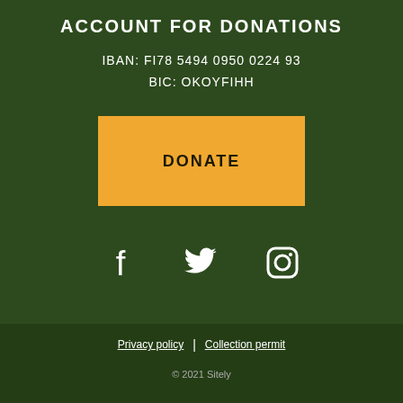ACCOUNT FOR DONATIONS
IBAN: FI78 5494 0950 0224 93
BIC: OKOYFIHH
[Figure (other): Orange DONATE button]
[Figure (other): Social media icons: Facebook, Twitter, Instagram]
Privacy policy | Collection permit
© 2021 Sitely